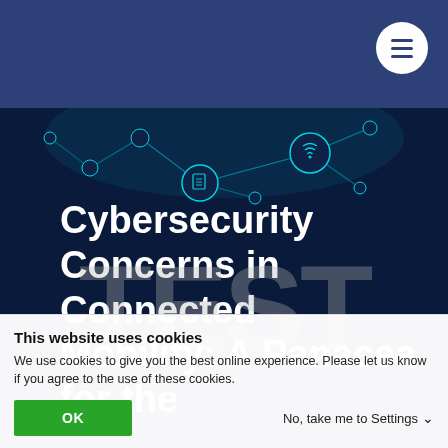[Figure (screenshot): Website navigation bar with dark blue background and hamburger menu button (white circle with three horizontal lines) in the top right corner]
[Figure (illustration): Dark navy background with glowing teal network/IoT connectivity nodes and lines illustration]
Cybersecurity Concerns in Connected Mobility: A Panacea for the
This website uses cookies
We use cookies to give you the best online experience. Please let us know if you agree to the use of these cookies.
OK
No, take me to Settings